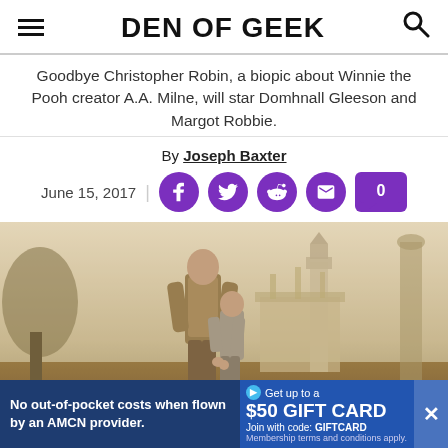DEN OF GEEK
Goodbye Christopher Robin, a biopic about Winnie the Pooh creator A.A. Milne, will star Domhnall Gleeson and Margot Robbie.
By Joseph Baxter
June 15, 2017
[Figure (photo): Movie still or promotional image showing a man and a child holding hands, viewed from behind, with London landmarks (Big Ben area) in the background, in a sepia/illustrated style. From the film Goodbye Christopher Robin.]
No out-of-pocket costs when flown by an AMCN provider. Get up to a $50 GIFT CARD Join with code: GIFTCARD Membership terms and conditions apply.